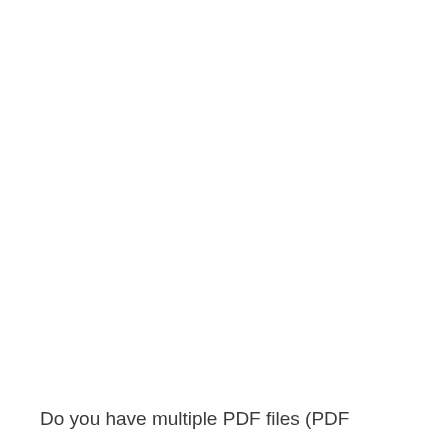Do you have multiple PDF files (PDF